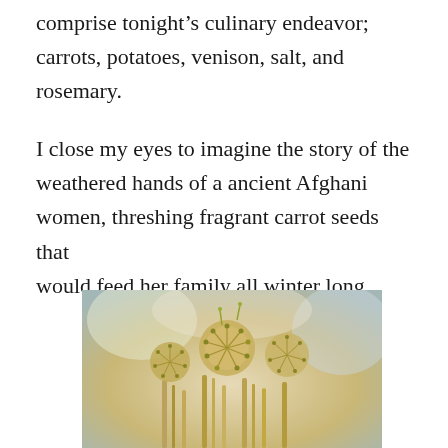comprise tonight's culinary endeavor; carrots, potatoes, venison, salt, and rosemary.
I close my eyes to imagine the story of the weathered hands of a ancient Afghani women, threshing fragrant carrot seeds that would feed her family all winter long.
[Figure (photo): Close-up photograph of dried carrot seed heads (umbels), showing intricate golden-brown seed clusters on thin stems against a blurred light background.]